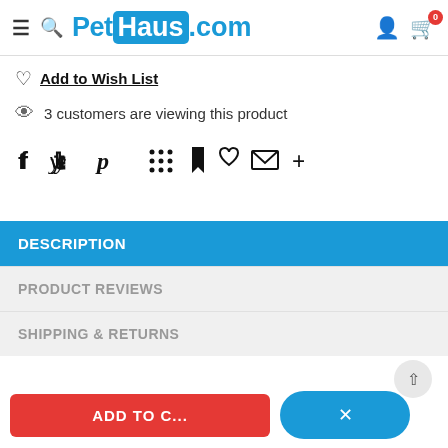PetHaus.com header with hamburger menu, search icon, logo, user icon, and cart (0)
Add to Wish List
3 customers are viewing this product
[Figure (other): Social sharing icons row: Facebook, Twitter, Pinterest, grid/apps, bookmark, heart, email, plus]
DESCRIPTION
PRODUCT REVIEWS
SHIPPING & RETURNS
ADD TO C...
×